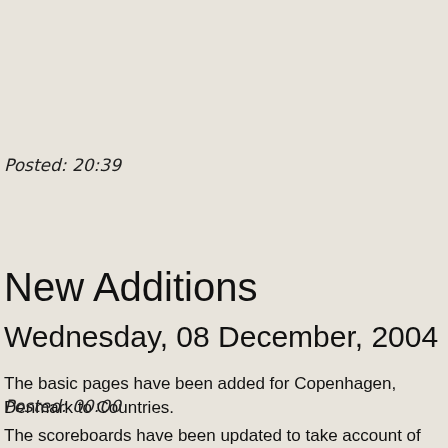Posted: 20:39
New Additions
Wednesday, 08 December, 2004
The basic pages have been added for Copenhagen, Denmark to Countries.
The scoreboards have been updated to take account of this
Posted: 00:00